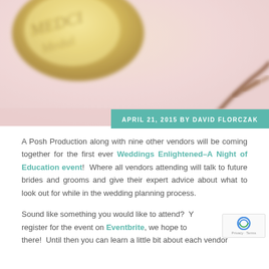[Figure (photo): Blurred background photo showing a gold medal or coin with cursive text 'MEDCI' or similar, on a pink/peach surface with a soft bokeh effect. A dark brown twig or branch is visible at the bottom right.]
APRIL 21, 2015 BY DAVID FLORCZAK
A Posh Production along with nine other vendors will be coming together for the first ever Weddings Enlightened–A Night of Education event!  Where all vendors attending will talk to future brides and grooms and give their expert advice about what to look out for while in the wedding planning process.
Sound like something you would like to attend?  You can register for the event on Eventbrite, we hope to see you there!  Until then you can learn a little bit about each vendor